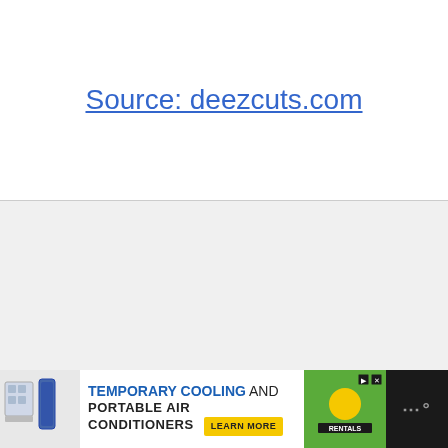Source: deezcuts.com
[Figure (other): Gray/light background placeholder section]
[Figure (other): Advertisement banner: TEMPORARY COOLING AND PORTABLE AIR CONDITIONERS with LEARN MORE button and Sunbelt Rentals logo]